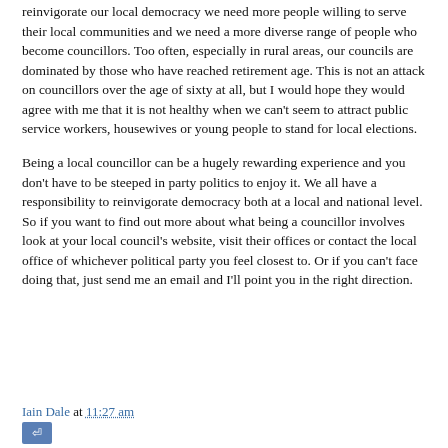reinvigorate our local democracy we need more people willing to serve their local communities and we need a more diverse range of people who become councillors. Too often, especially in rural areas, our councils are dominated by those who have reached retirement age. This is not an attack on councillors over the age of sixty at all, but I would hope they would agree with me that it is not healthy when we can't seem to attract public service workers, housewives or young people to stand for local elections.
Being a local councillor can be a hugely rewarding experience and you don't have to be steeped in party politics to enjoy it. We all have a responsibility to reinvigorate democracy both at a local and national level. So if you want to find out more about what being a councillor involves look at your local council's website, visit their offices or contact the local office of whichever political party you feel closest to. Or if you can't face doing that, just send me an email and I'll point you in the right direction.
Iain Dale at 11:27 am